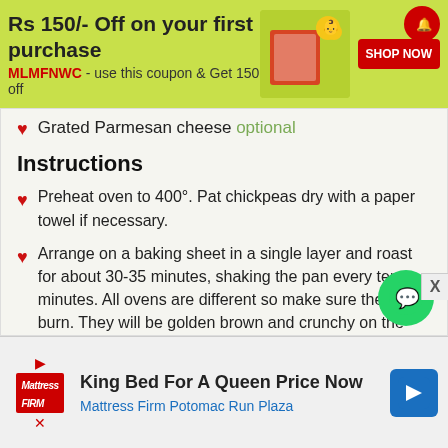[Figure (screenshot): Top advertisement banner with green background: 'Rs 150/- Off on your first purchase' with coupon code MLMFNWC and SHOP NOW button]
Grated Parmesan cheese optional
Instructions
Preheat oven to 400°. Pat chickpeas dry with a paper towel if necessary.
Arrange on a baking sheet in a single layer and roast for about 30-35 minutes, shaking the pan every ten minutes. All ovens are different so make sure they don't burn. They will be golden brown and crunchy on the inside when done, not moist.
In a medium bowl, combine the salt, garlic powder and cheese, if using. Remove chickpeas from oven when done and spray with cooking spray. Immediately toss with spices while hot. When cool, serve in small bowls.
[Figure (screenshot): Bottom advertisement: King Bed For A Queen Price Now - Mattress Firm Potomac Run Plaza]